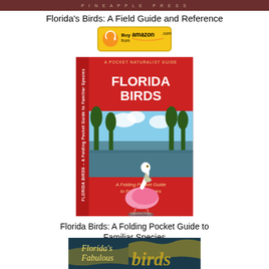PINEAPPLE PRESS
Florida's Birds: A Field Guide and Reference
[Figure (illustration): Buy from amazon.com button with arrow logo]
[Figure (illustration): Florida Birds folding pocket guide book cover showing a Roseate Spoonbill bird standing in water, with red background and photo of Florida wetlands]
Florida Birds: A Folding Pocket Guide to Familiar Species
[Figure (illustration): Buy from amazon.com button with arrow logo]
[Figure (illustration): Florida's Fabulous Birds book cover - partially visible at bottom, dark teal background with yellow script text]